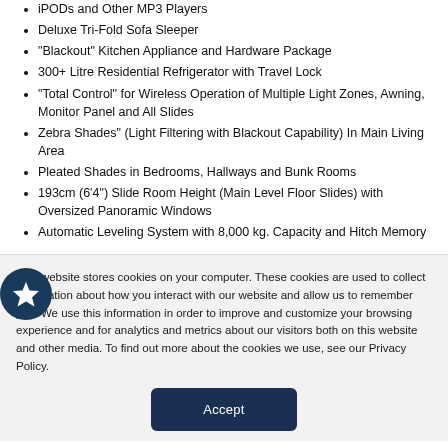iPODs and Other MP3 Players
Deluxe Tri-Fold Sofa Sleeper
“Blackout” Kitchen Appliance and Hardware Package
300+ Litre Residential Refrigerator with Travel Lock
"Total Control" for Wireless Operation of Multiple Light Zones, Awning, Monitor Panel and All Slides
Zebra Shades" (Light Filtering with Blackout Capability) In Main Living Area
Pleated Shades in Bedrooms, Hallways and Bunk Rooms
193cm (6’4”) Slide Room Height (Main Level Floor Slides) with Oversized Panoramic Windows
Automatic Leveling System with 8,000 kg. Capacity and Hitch Memory
This website stores cookies on your computer. These cookies are used to collect information about how you interact with our website and allow us to remember you. We use this information in order to improve and customize your browsing experience and for analytics and metrics about our visitors both on this website and other media. To find out more about the cookies we use, see our Privacy Policy.